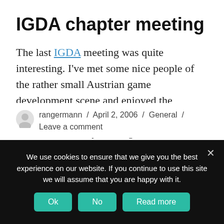IGDA chapter meeting
The last IGDA meeting was quite interesting. I've met some nice people of the rather small Austrian game development scene and enjoyed the presentations. Niko has some photos on his website. I'm really looking forward to attending the next meeting ;)
rangermann / April 2, 2006 / General / Leave a comment
We use cookies to ensure that we give you the best experience on our website. If you continue to use this site we will assume that you are happy with it.